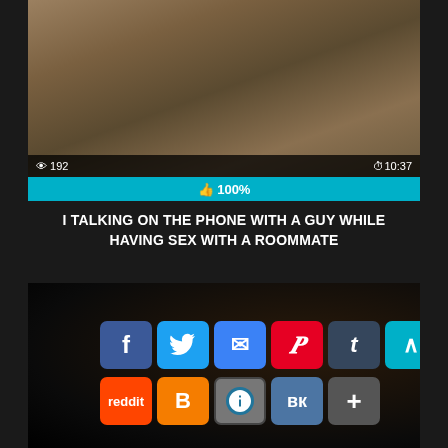[Figure (screenshot): Video thumbnail showing two people on a bed]
👁 192    ⏱10:37
👍 100%
I TALKING ON THE PHONE WITH A GUY WHILE HAVING SEX WITH A ROOMMATE
[Figure (screenshot): Second video thumbnail with social share buttons overlay showing Facebook, Twitter, Email, Pinterest, Tumblr, scroll-up, Reddit, Blogger, WordPress, VK, More]
f  Twitter  email  P  t  ^  reddit  B  WP  VK  +